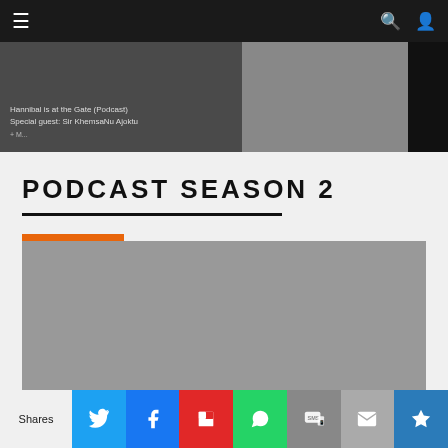Navigation bar with menu, search, and user icons
[Figure (photo): Top banner image showing a podcast thumbnail on the left with text 'Hannibal is at the Gate (Podcast) Special guest: Sir KhemsaNu Ajoktu' over a dark background, a center image of people, and a dark right panel]
PODCAST SEASON 2
[Figure (photo): Gray placeholder image for podcast season 2 content with orange accent bar at top-left]
Shares
[Figure (infographic): Social share bar with buttons: Twitter (blue), Facebook (blue), Flipboard (red), WhatsApp (green), SMS (gray), Email (gray), More (blue)]